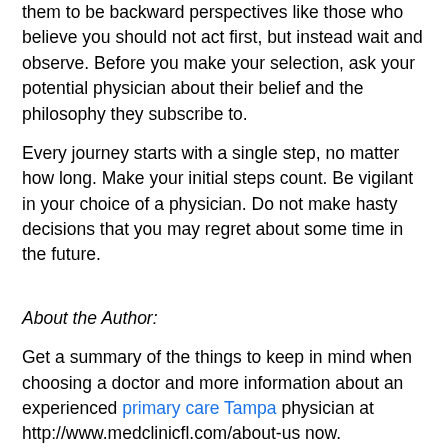them to be backward perspectives like those who believe you should not act first, but instead wait and observe. Before you make your selection, ask your potential physician about their belief and the philosophy they subscribe to.
Every journey starts with a single step, no matter how long. Make your initial steps count. Be vigilant in your choice of a physician. Do not make hasty decisions that you may regret about some time in the future.
About the Author:
Get a summary of the things to keep in mind when choosing a doctor and more information about an experienced primary care Tampa physician at http://www.medclinicfl.com/about-us now.